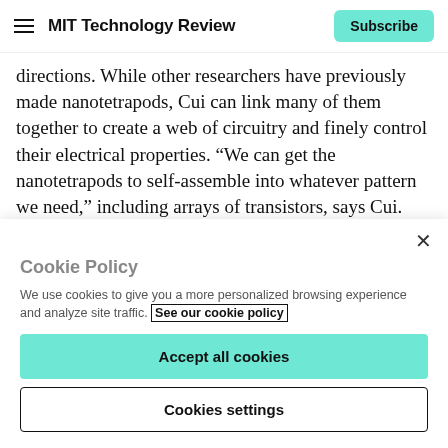MIT Technology Review
directions. While other researchers have previously made nanotetrapods, Cui can link many of them together to create a web of circuitry and finely control their electrical properties. “We can get the nanotetrapods to self-assemble into whatever pattern we need,” including arrays of transistors, says Cui. Because of their small size, these circuits could in theory be several times faster than the circuits in todays computer chips. By arranging
Cookie Policy
We use cookies to give you a more personalized browsing experience and analyze site traffic. See our cookie policy
Accept all cookies
Cookies settings